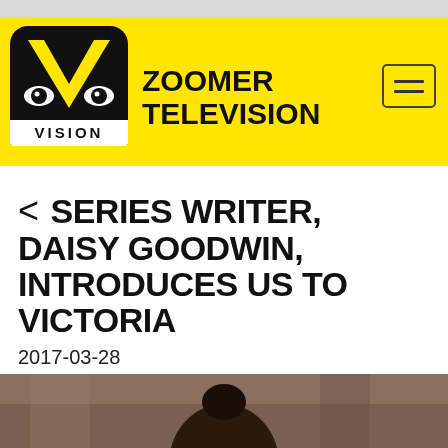Zoomer Television
SERIES WRITER, DAISY GOODWIN, INTRODUCES US TO VICTORIA
2017-03-28
[Figure (photo): Bottom portion of page showing a cropped photo of a person with dark hair in a bun, set against a room interior background]